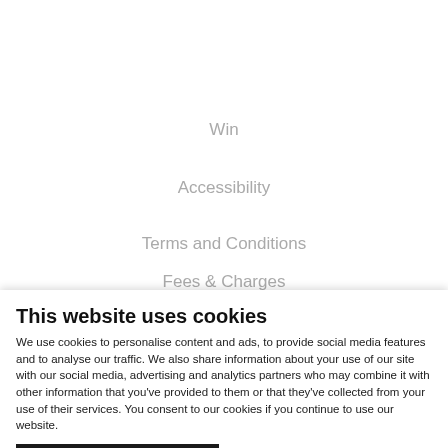Win
Accessibility
Terms and Conditions
Privacy Policy
Fees & Charges
This website uses cookies
We use cookies to personalise content and ads, to provide social media features and to analyse our traffic. We also share information about your use of our site with our social media, advertising and analytics partners who may combine it with other information that you've provided to them or that they've collected from your use of their services. You consent to our cookies if you continue to use our website.
Use necessary cookies only
Allow all cookies
Show details